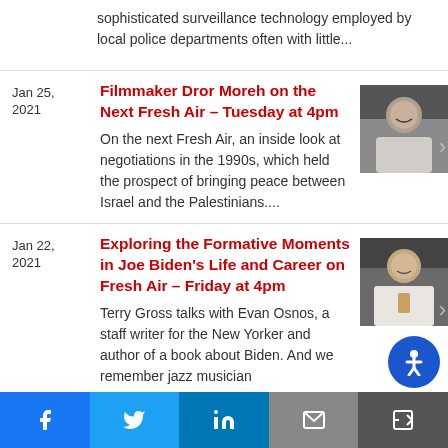sophisticated surveillance technology employed by local police departments often with little...
Jan 25, 2021
Filmmaker Dror Moreh on the Next Fresh Air – Tuesday at 4pm
On the next Fresh Air, an inside look at negotiations in the 1990s, which held the prospect of bringing peace between Israel and the Palestinians....
[Figure (photo): Portrait photo of a man with dark hair, looking directly at camera]
Jan 22, 2021
Exploring the Formative Moments in Joe Biden's Life and Career on Fresh Air – Friday at 4pm
Terry Gross talks with Evan Osnos, a staff writer for the New Yorker and author of a book about Biden. And we remember jazz musician
[Figure (photo): Portrait photo of a man in white shirt speaking or presenting]
f  t  in  [email]  [share]